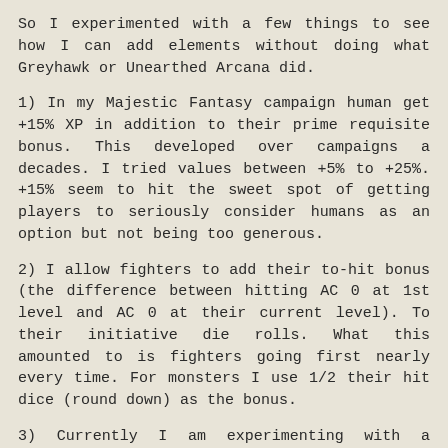So I experimented with a few things to see how I can add elements without doing what Greyhawk or Unearthed Arcana did.
1) In my Majestic Fantasy campaign human get +15% XP in addition to their prime requisite bonus. This developed over campaigns a decades. I tried values between +5% to +25%. +15% seem to hit the sweet spot of getting players to seriously consider humans as an option but not being too generous.
2) I allow fighters to add their to-hit bonus (the difference between hitting AC 0 at 1st level and AC 0 at their current level). To their initiative die rolls. What this amounted to is fighters going first nearly every time. For monsters I use 1/2 their hit dice (round down) as the bonus.
3) Currently I am experimenting with a multiple attack rules. Fighters in classic D&D get 1 attack per level when fighting 1 HD (or lower in some editions) creatures. I now expanded this to higher hit dice. So a fourth level fighter would get 2 attacks against a 2 HD Creature. Or they can